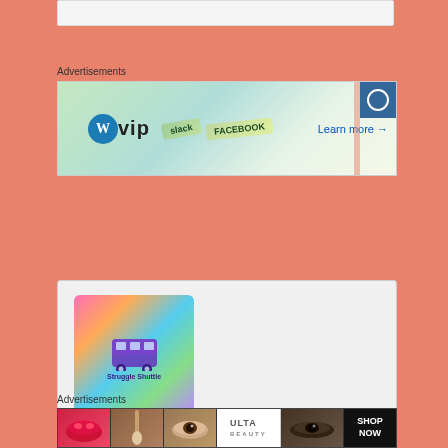Advertisements
[Figure (screenshot): WordPress VIP advertisement banner with WordPress logo, 'vip' text, social media card graphics, and 'Learn more →' link]
[Figure (screenshot): Comment card with Struggle Shuttle avatar image (colorful gradient with bus icon)]
Struggle Shuttle on July 28, 2021 at 4:59 pm said:
What a great trick! I bet my mom wishes that she new this one when I blew up a Styrofoam cup full of crayons in a toaster oven when I was little… Crayons were
Advertisements
[Figure (screenshot): Ulta Beauty advertisement banner showing cosmetics, makeup brushes, eyes, and 'SHOP NOW' call to action]